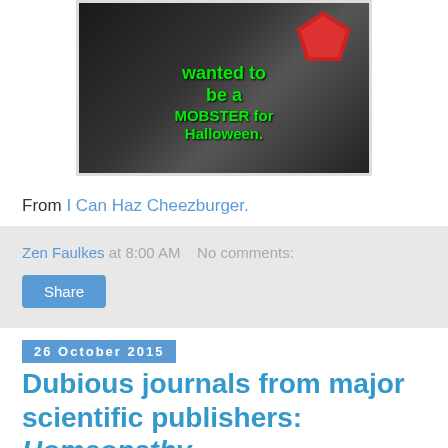[Figure (photo): A cat photo meme with text 'wanted to be a MOBSTER for Halloween.' in green on a dark background, with a red star shape]
From I Can Haz Cheezburger.
Zen Faulkes at 8:00 AM   No comments:
Share
26 October 2015
Dubious journals from major scientific publishers: Homeopathy
Consumer Reports recently looked into homeopathic remedies. It was pretty timid repudiation, but did contain this critical line: